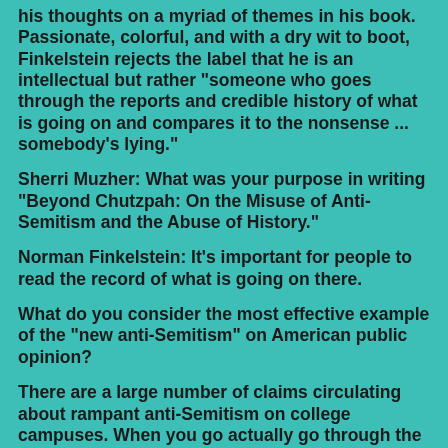his thoughts on a myriad of themes in his book. Passionate, colorful, and with a dry wit to boot, Finkelstein rejects the label that he is an intellectual but rather "someone who goes through the reports and credible history of what is going on and compares it to the nonsense ... somebody's lying."
Sherri Muzher: What was your purpose in writing "Beyond Chutzpah: On the Misuse of Anti-Semitism and the Abuse of History."
Norman Finkelstein: It's important for people to read the record of what is going on there.
What do you consider the most effective example of the "new anti-Semitism" on American public opinion?
There are a large number of claims circulating about rampant anti-Semitism on college campuses. When you go actually go through the records, talk to the schools, speak to the deans and so forth, all of these claims turn out to be fraudulent. There's just no record of this so-called rampant anti-Semitism on college campuses.
The most striking example is Columbia University where there was huge hysteria, newspaper editorials, and local politicians